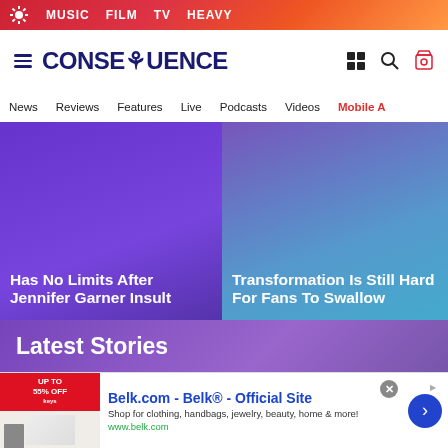MUSIC  FILM  TV  HEAVY
[Figure (screenshot): Consequence website logo and navigation header with hamburger menu, CONSEQUENCE logo, and icons for shop, search, and tags]
News  Reviews  Features  Live  Podcasts  Videos  Mobile A
Has No Limits After Jennifer Garner Insult
Transformation Is Still Hard For Fans To Swallow
Latest Stories
[Figure (photo): Concert photo showing musicians on stage with blue laser lights]
[Figure (photo): Concert photo showing bright spotlight with crowd below]
Belk.com - Belk® - Official Site
Shop for clothing, handbags, jewelry, beauty, home & more!
www.belk.com